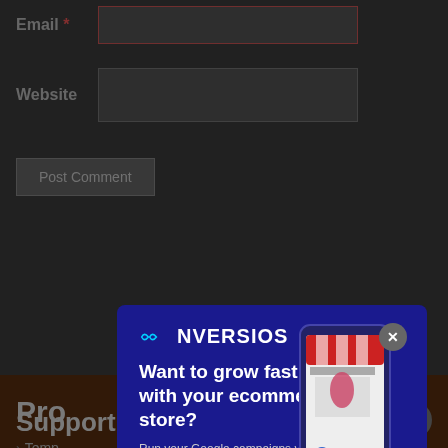Email *
Website
Post Comment
[Figure (screenshot): Conversios popup/modal advertisement. Dark blue background with logo 'CONVERSIOS', headline 'Want to grow fast with your ecommerce store?', subtext 'Run your Google campaigns via most popular plugin – Conversios', a blue 'I am in >>' CTA button, and an illustration of a person with a shopping cart next to a large smartphone with a storefront.]
Pro
Temp
Feat
Feat
Reviews ↗
Changelog
Roadmap
Support